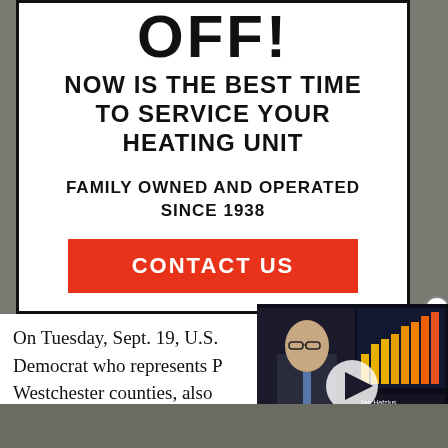[Figure (infographic): Advertisement box with bold text: OFF! NOW IS THE BEST TIME TO SERVICE YOUR HEATING UNIT. FAMILY OWNED AND OPERATED SINCE 1938. Red CONTACT US button.]
On Tuesday, Sept. 19, U.S. Democrat who represents … Westchester counties, also … record low cap on how many refugees are allowed…
[Figure (screenshot): Video overlay showing a Bloomberg TV anchor (Jan Hatzius, Goldman Sachs Chief Economist) with financial charts in background. Ticker shows USD/CNY 6.8480 down 0.0003 unch.]